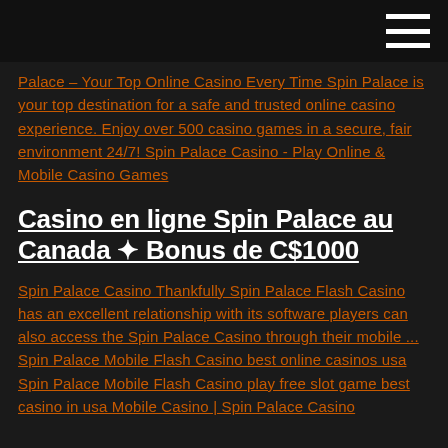hamburger menu icon
Palace – Your Top Online Casino Every Time Spin Palace is your top destination for a safe and trusted online casino experience. Enjoy over 500 casino games in a secure, fair environment 24/7! Spin Palace Casino - Play Online & Mobile Casino Games
Casino en ligne Spin Palace au Canada ✦ Bonus de C$1000
Spin Palace Casino Thankfully Spin Palace Flash Casino has an excellent relationship with its software players can also access the Spin Palace Casino through their mobile ... Spin Palace Mobile Flash Casino best online casinos usa Spin Palace Mobile Flash Casino play free slot game best casino in usa Mobile Casino | Spin Palace Casino